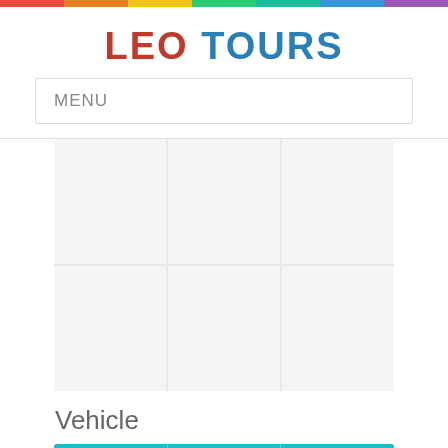LEO TOURS
MENU
[Figure (other): 3x2 grid of image placeholder cells with light gray background]
Vehicle
| No of People | 02 People | 4 to 6 persons |
| --- | --- | --- |